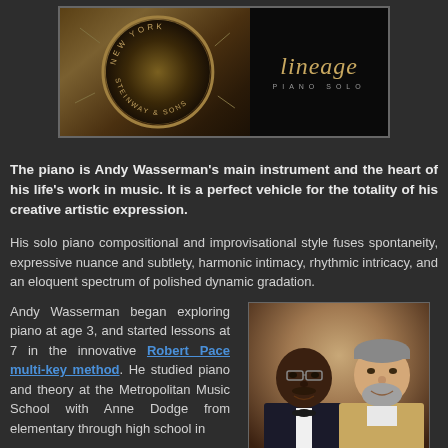[Figure (photo): Album cover image - Lineage Piano Solo by Andy Wasserman, showing piano hardware/medallion on left side and the text 'lineage PIANO SOLO' on dark background on right]
The piano is Andy Wasserman's main instrument and the heart of his life's work in music. It is a perfect vehicle for the totality of his creative artistic expression.
His solo piano compositional and improvisational style fuses spontaneity, expressive nuance and subtlety, harmonic intimacy, rhythmic intricacy, and an eloquent spectrum of polished dynamic gradation.
Andy Wasserman began exploring piano at age 3, and started lessons at 7 in the innovative Robert Pace multi-key method. He studied piano and theory at the Metropolitan Music School with Anne Dodge from elementary through high school in Manhattan, moving on to develop a life-changing 30
[Figure (photo): Photo of two men posing together - one Black man in a tuxedo with bow tie and one white man with beard in a light colored jacket]